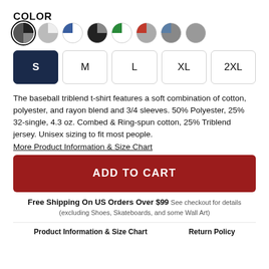COLOR
[Figure (other): Color swatch selector with 8 circular swatches: black/gray (selected), light gray/white, blue/white, dark gray/black, green/white, red/gray, blue/gray, medium gray. First swatch has a selection ring around it.]
[Figure (other): Size selector with 5 buttons: S (selected, dark navy background), M, L, XL, 2XL (unselected, white background with border)]
The baseball triblend t-shirt features a soft combination of cotton, polyester, and rayon blend and 3/4 sleeves. 50% Polyester, 25% 32-single, 4.3 oz. Combed & Ring-spun cotton, 25% Triblend jersey. Unisex sizing to fit most people.
More Product Information & Size Chart
ADD TO CART
Free Shipping On US Orders Over $99 See checkout for details (excluding Shoes, Skateboards, and some Wall Art)
Product Information & Size Chart    Return Policy